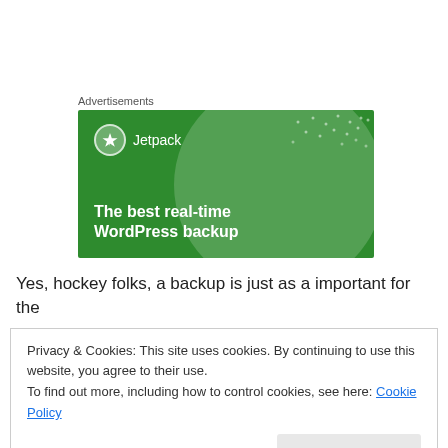Advertisements
[Figure (illustration): Jetpack advertisement banner with green background, Jetpack logo and text 'The best real-time WordPress backup']
Yes, hockey folks, a backup is just as a important for the
Privacy & Cookies: This site uses cookies. By continuing to use this website, you agree to their use.
To find out more, including how to control cookies, see here: Cookie Policy
Close and accept